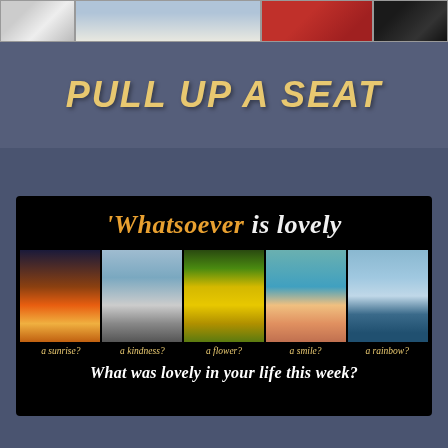[Figure (photo): Top banner with photos and 'PULL UP A SEAT' text in italic bold yellow on dark gray background]
[Figure (infographic): Black card with 'Whatsoever is lovely' heading, five nature/life photos (sunrise, kindness, flower, smile, rainbow) with italic gold labels, and question 'What was lovely in your life this week?' in white italic bold]